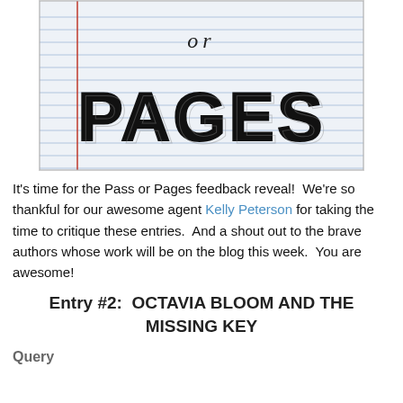[Figure (photo): Notebook paper with hand-drawn block letters spelling 'or PAGES', with ruled lines and a red margin line visible]
It's time for the Pass or Pages feedback reveal!  We're so thankful for our awesome agent Kelly Peterson for taking the time to critique these entries.  And a shout out to the brave authors whose work will be on the blog this week.  You are awesome!
Entry #2:  OCTAVIA BLOOM AND THE MISSING KEY
Query